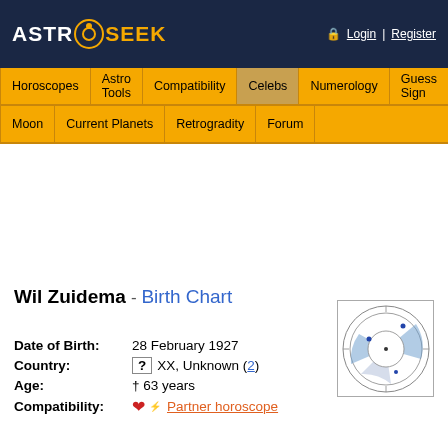ASTRO SEEK - Login | Register
Horoscopes | Astro Tools | Compatibility | Celebs | Numerology | Guess Sign
Moon | Current Planets | Retrogradity | Forum
Wil Zuidema - Birth Chart
[Figure (other): Circular astrology birth chart thumbnail showing zodiac wheel with blue shaded areas and planet positions]
| Field | Value |
| --- | --- |
| Date of Birth: | 28 February 1927 |
| Country: | ? XX, Unknown (2) |
| Age: | † 63 years |
| Compatibility: | Partner horoscope |